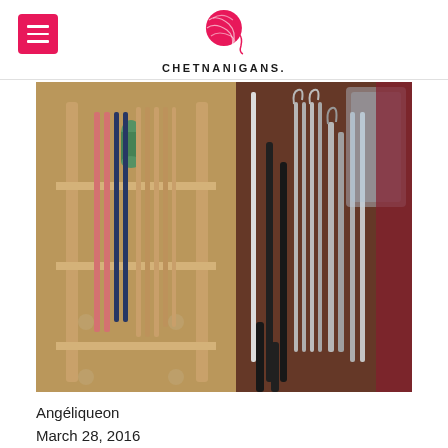CHETNANIGANS.
[Figure (photo): Close-up photo of a wooden wall-mounted crochet hook and knitting needle organizer rack, holding various crochet hooks with colored handles (pink, black) and metallic hooks, along with knitting needles of various sizes, organized vertically in slots.]
Angéliqueon
March 28, 2016
Wall Mounted Crochet Station (The Crochet Cluster)